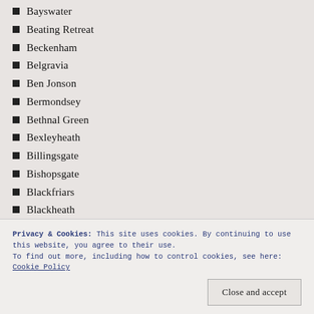Bayswater
Beating Retreat
Beckenham
Belgravia
Ben Jonson
Bermondsey
Bethnal Green
Bexleyheath
Billingsgate
Bishopsgate
Blackfriars
Blackheath
Blitz
Bloomsbury
Blue Plaques
Brixton
Privacy & Cookies: This site uses cookies. By continuing to use this website, you agree to their use.
To find out more, including how to control cookies, see here: Cookie Policy
Close and accept